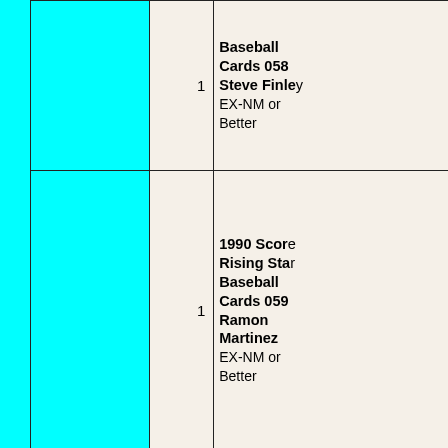| Image | Qty | Description |
| --- | --- | --- |
|  | 1 | Baseball Cards 058 Steve Finley EX-NM or Better |
|  | 1 | 1990 Score Rising Star Baseball Cards 059 Ramon Martinez EX-NM or Better |
|  | 1 | 1990 Score Rising Star Baseball Cards 060 Greg Briley EX-NM or Better |
|  | 1 | 1990 Score Rising Star Baseball Cards 061 Jack Daugherty EX-NM or Better |